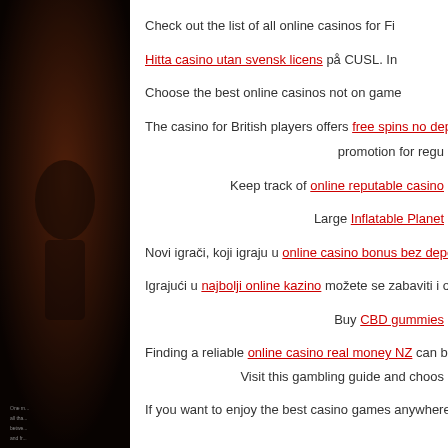[Figure (photo): Dark cinematic background image on the left side, appears to be a movie poster or promotional image with dark reddish-brown tones]
Check out the list of all online casinos for Fi...
Hitta casino utan svensk licens på CUSL. In...
Choose the best online casinos not on game...
The casino for British players offers free spins no deposit not on gam... promotion for regu...
Keep track of online reputable casino...
Large Inflatable Planet...
Novi igrači, koji igraju u online casino bonus bez depozita, mogu...
Igrajući u najbolji online kazino možete se zabaviti i osvojiti p...
Buy CBD gummies...
Finding a reliable online casino real money NZ can be a challenge if you... Visit this gambling guide and choos...
If you want to enjoy the best casino games anywhere and anyti...